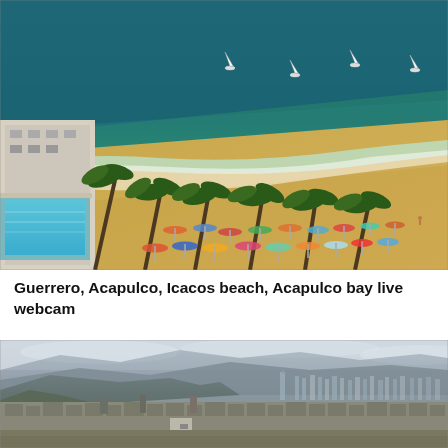[Figure (photo): Aerial view of Acapulco Icacos beach with golden sand, turquoise ocean water, sailboats, beach umbrellas, palm trees, and a hotel pool in the lower left corner.]
Guerrero, Acapulco, Icacos beach, Acapulco bay live webcam
[Figure (photo): Panoramic cityscape view showing a large urban city with mountains in the background, hazy sky, skyscrapers visible in the distance, and dense low-rise buildings in the foreground.]